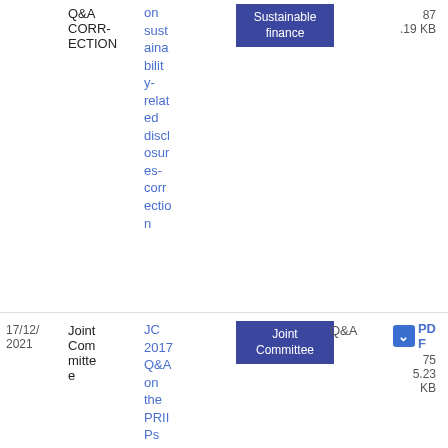| Date | Type | Title | Tag | Doc Type | File |
| --- | --- | --- | --- | --- | --- |
|  | Q&A CORRECTION | on sustainability-related disclosures-correction | Sustainable finance |  | 87
.19 KB |
| 17/12/2021 | Joint Committee | JC 2017 Q&A on the PRIIPs Key | Joint Committee | Q&A | PDF 75 5.23 KB |